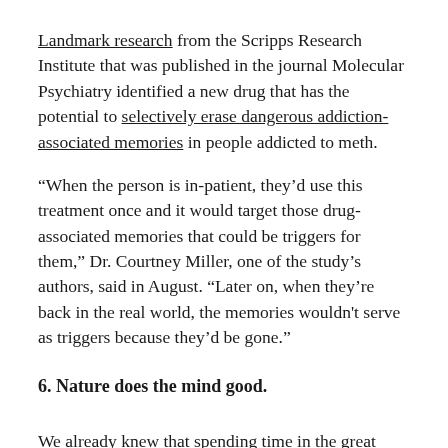Landmark research from the Scripps Research Institute that was published in the journal Molecular Psychiatry identified a new drug that has the potential to selectively erase dangerous addiction-associated memories in people addicted to meth.
“When the person is in-patient, they’d use this treatment once and it would target those drug-associated memories that could be triggers for them,” Dr. Courtney Miller, one of the study’s authors, said in August. “Later on, when they’re back in the real world, the memories wouldn't serve as triggers because they’d be gone.”
6. Nature does the mind good.
We already knew that spending time in the great outdoors comes with significant physical and mental